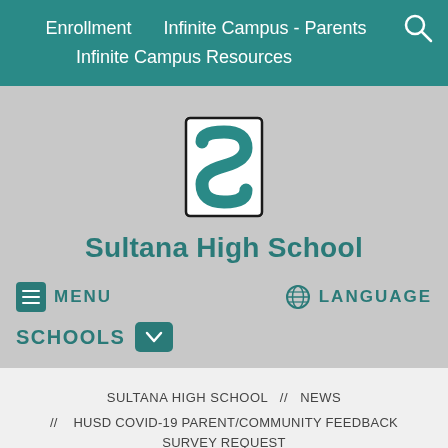Enrollment    Infinite Campus - Parents    Infinite Campus Resources
[Figure (logo): Sultana High School letter S logo in teal and black block letter style]
Sultana High School
MENU
LANGUAGE
SCHOOLS
SULTANA HIGH SCHOOL // NEWS
// HUSD COVID-19 PARENT/COMMUNITY FEEDBACK SURVEY REQUEST